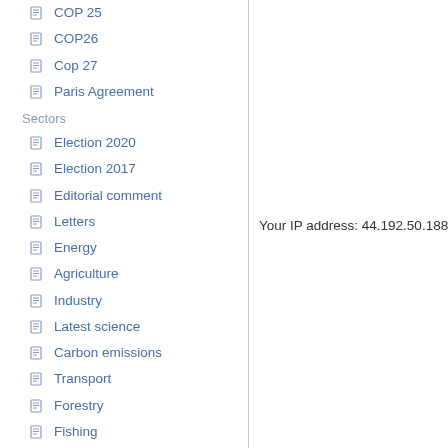COP 25
COP26
Cop 27
Paris Agreement
Sectors
Election 2020
Election 2017
Editorial comment
Letters
Energy
Agriculture
Industry
Latest science
Carbon emissions
Transport
Forestry
Fishing
Water
Business
Weather
Ten years ago
Waste
Finance
Technology
Your IP address: 44.192.50.188